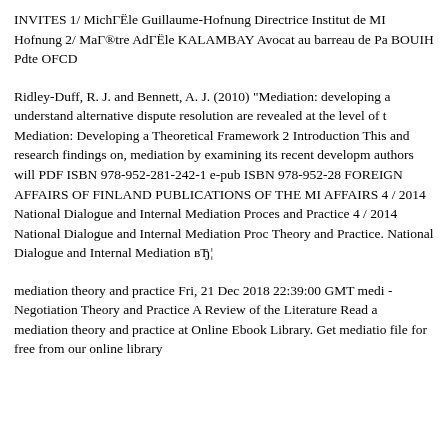INVITES 1/ MichГËle Guillaume-Hofnung Directrice Institut de MI Hofnung 2/ MaГ®tre AdГËle KALAMBAY Avocat au barreau de Pa BOUIH Pdte OFCD
Ridley-Duff, R. J. and Bennett, A. J. (2010) "Mediation: developing a understand alternative dispute resolution are revealed at the level of t Mediation: Developing a Theoretical Framework 2 Introduction This and research findings on, mediation by examining its recent developm authors will PDF ISBN 978-952-281-242-1 e-pub ISBN 978-952-28 FOREIGN AFFAIRS OF FINLAND PUBLICATIONS OF THE MI AFFAIRS 4 / 2014 National Dialogue and Internal Mediation Proces and Practice 4 / 2014 National Dialogue and Internal Mediation Proc Theory and Practice. National Dialogue and Internal Mediation вЂ¦
mediation theory and practice Fri, 21 Dec 2018 22:39:00 GMT medi - Negotiation Theory and Practice A Review of the Literature Read a mediation theory and practice at Online Ebook Library. Get mediatio file for free from our online library